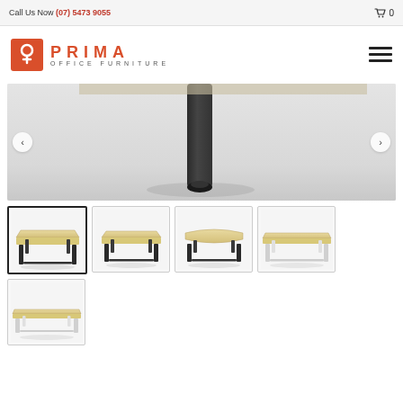Call Us Now (07) 5473 9055  🛒 0
[Figure (logo): Prima Office Furniture logo: orange square with stylized P, PRIMA in orange letters, OFFICE FURNITURE in grey below]
[Figure (photo): Main product image slider showing close-up of desk leg detail, with left and right navigation arrows]
[Figure (photo): Thumbnail 1 (active/selected): office desk with dark metal legs and light wood top, isometric view]
[Figure (photo): Thumbnail 2: office desk with dark metal legs and light wood top, slightly different angle]
[Figure (photo): Thumbnail 3: office desk with dark metal legs and light wood top, front/side angle]
[Figure (photo): Thumbnail 4: office desk with white metal legs and light wood top]
[Figure (photo): Thumbnail 5: office desk with white metal legs, low profile view]